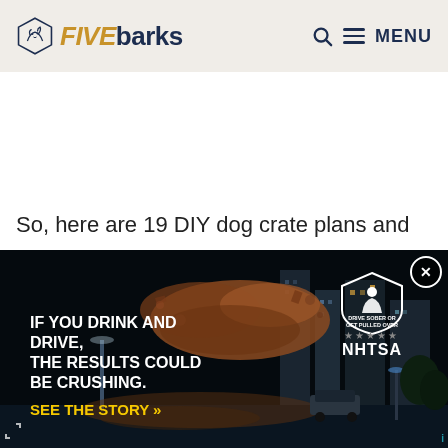FIVEbarks — Q MENU
So, here are 19 DIY dog crate plans and
[Figure (photo): NHTSA drunk driving advertisement showing a city street with debris flying through the air; text reads 'IF YOU DRINK AND DRIVE, THE RESULTS COULD BE CRUSHING. SEE THE STORY >>' with DRIVE SOBER OR GET PULLED OVER badge and NHTSA logo.]